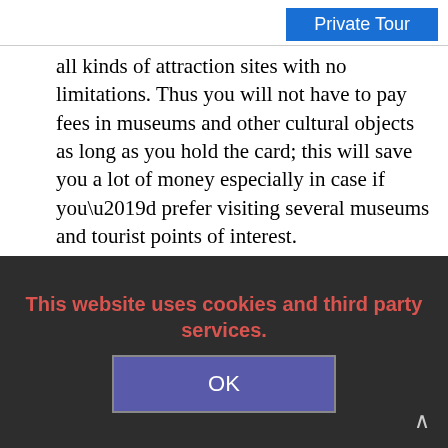Private Tour
all kinds of attraction sites with no limitations. Thus you will not have to pay fees in museums and other cultural objects as long as you hold the card; this will save you a lot of money especially in case if you’d prefer visiting several museums and tourist points of interest.
Grants you with the unlimited use of public transport. With it, you can travel in the buses, city trains, boats and even trams.
This website uses cookies and third party services.
OK